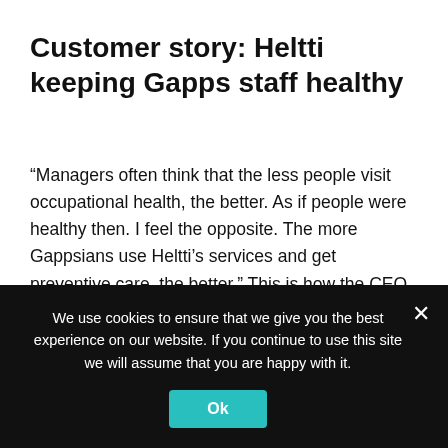Customer story: Heltti keeping Gapps staff healthy
“Managers often think that the less people visit occupational health, the better. As if people were healthy then. I feel the opposite. The more Gappsians use Heltti’s services and get preventive care, the better.” This is how the CEO of Gapps, Kasper Pöyry, sees the role of occupational healt...
[Figure (photo): Partial photo of a person, partially obscured by cookie consent banner]
We use cookies to ensure that we give you the best experience on our website. If you continue to use this site we will assume that you are happy with it.
Ok